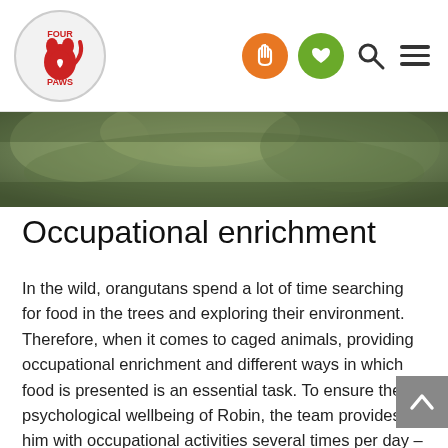[Figure (logo): Four Paws organization logo — red cat silhouette with text 'FOUR PAWS' inside a white circle with grey border]
[Figure (photo): Blurred green nature/jungle background photo banner]
Occupational enrichment
In the wild, orangutans spend a lot of time searching for food in the trees and exploring their environment. Therefore, when it comes to caged animals, providing occupational enrichment and different ways in which food is presented is an essential task. To ensure the psychological wellbeing of Robin, the team provides him with occupational activities several times per day – like food puzzles. It is an effective way to encourage foraging behaviours and to stimulate the orangutans' senses and curiosity. They are made of a variety of materials like water basins, bags, cardboard, odours and sawdust...